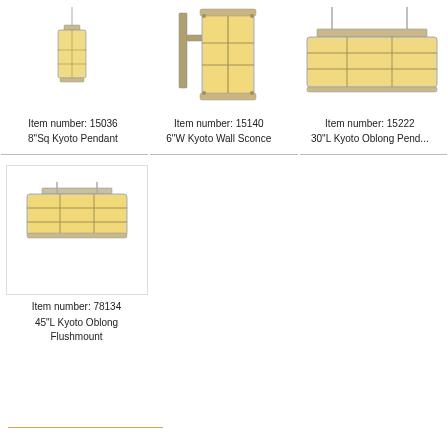[Figure (photo): 8 inch square Kyoto pendant light fixture with amber glass panels]
Item number: 15036
8"Sq Kyoto Pendant
[Figure (photo): 6 inch wide Kyoto wall sconce with amber glass panels]
Item number: 15140
6"W Kyoto Wall Sconce
[Figure (photo): 30 inch long Kyoto oblong pendant light fixture with amber glass panels]
Item number: 15222
30"L Kyoto Oblong Pend...
[Figure (photo): 45 inch long Kyoto oblong flushmount light fixture with amber glass panels in a white box]
Item number: 78134
45"L Kyoto Oblong Flushmount